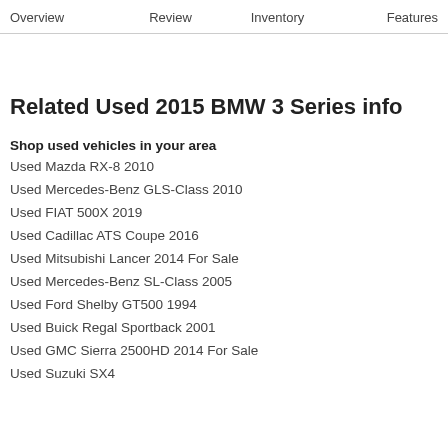Overview   Review   Inventory   Features
Related Used 2015 BMW 3 Series info
Shop used vehicles in your area
Used Mazda RX-8 2010
Used Mercedes-Benz GLS-Class 2010
Used FIAT 500X 2019
Used Cadillac ATS Coupe 2016
Used Mitsubishi Lancer 2014 For Sale
Used Mercedes-Benz SL-Class 2005
Used Ford Shelby GT500 1994
Used Buick Regal Sportback 2001
Used GMC Sierra 2500HD 2014 For Sale
Used Suzuki SX4